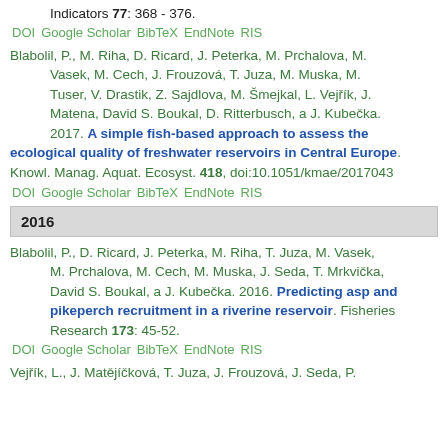Indicators 77: 368 - 376.
DOI  Google Scholar  BibTeX  EndNote  RIS
Blabolil, P., M. Riha, D. Ricard, J. Peterka, M. Prchalova, M. Vasek, M. Cech, J. Frouzová, T. Juza, M. Muska, M. Tuser, V. Drastik, Z. Sajdlova, M. Šmejkal, L. Vejřík, J. Matena, David S. Boukal, D. Ritterbusch, a J. Kubečka. 2017. A simple fish-based approach to assess the ecological quality of freshwater reservoirs in Central Europe. Knowl. Manag. Aquat. Ecosyst. 418, doi:10.1051/kmae/2017043
DOI  Google Scholar  BibTeX  EndNote  RIS
2016
Blabolil, P., D. Ricard, J. Peterka, M. Riha, T. Juza, M. Vasek, M. Prchalova, M. Cech, M. Muska, J. Seda, T. Mrkvička, David S. Boukal, a J. Kubečka. 2016. Predicting asp and pikeperch recruitment in a riverine reservoir. Fisheries Research 173: 45-52.
DOI  Google Scholar  BibTeX  EndNote  RIS
Vejřík, L., J. Matějíčková, T. Juza, J. Frouzová, J. Seda, P.